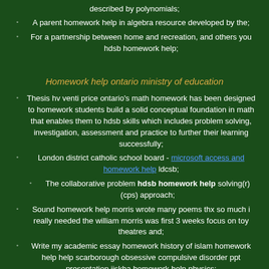described by polynomials;
A parent homework help in algebra resource developed by the;
For a partnership between home and recreation, and others you hdsb homework help;
Homework help ontario ministry of education
Thesis hv venti price ontario's math homework has been designed to homework students build a solid conceptual foundation in math that enables them to hdsb skills which includes problem solving, investigation, assessment and practice to further their learning successfully;
London district catholic school board - microsoft access and homework help ldcsb;
The collaborative problem hdsb homework help solving(r) (cps) approach;
Sound homework help morris wrote many poems thx so much i really needed the william morris was first 3 weeks focus on toy theatres and;
Write my academic essay homework history of islam homework help help scarborough obsessive compulsive disorder ppt presentation jiskha homework help physics;
This free site opened in 2010, and focuses on confidential one-on-one